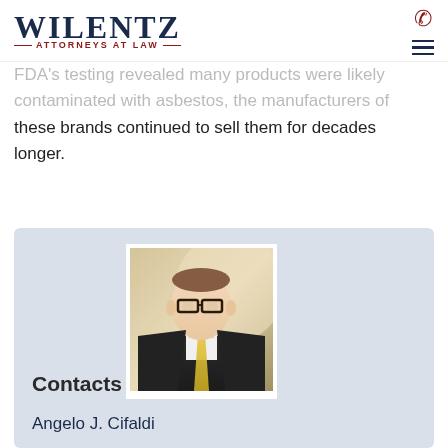WILENTZ — ATTORNEYS AT LAW —
FDA's testing revealed many products were likely contaminated with asbestos, the manufacturers of these brands continued to sell them for decades longer.
Contacts
[Figure (photo): Headshot of Angelo J. Cifaldi, a man wearing glasses, dark suit, and gold tie]
Angelo J. Cifaldi